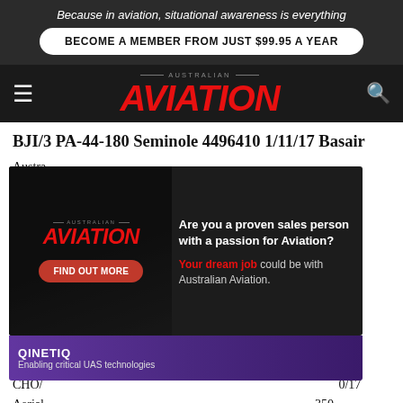Because in aviation, situational awareness is everything
BECOME A MEMBER FROM JUST $99.95 A YEAR
[Figure (logo): Australian Aviation logo with red italic AVIATION text on dark background, hamburger menu icon on left, search icon on right]
BJI/3 PA-44-180 Seminole 4496410 1/11/17 Basair Austra... N7109...
CHO/... 0/17 Aerial... 350 C-GPT...
[Figure (infographic): Australian Aviation advertisement overlay showing 'Are you a proven sales person with a passion for Aviation? Your dream job could be with Australian Aviation.' with FIND OUT MORE button, on dark background with people silhouette]
DAB/2... 7 John Maslin, 5766 Mid Western Hwy Garagaba NSW 2810